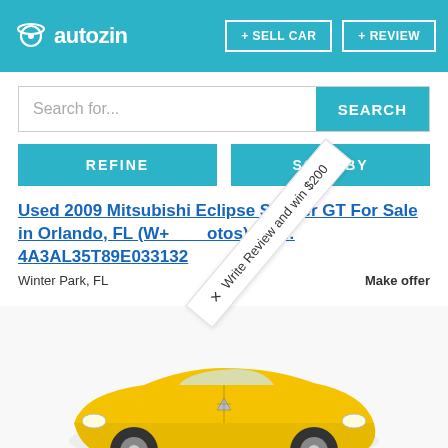autozin + SELL CAR + REVIEW
Search for...
REFINE | SORT BY
Used 2009 Mitsubishi Eclipse Spyder GT For Sale in Orlando, FL (W... Photos) | Vin: 4A3AL35T89E033132
Winter Park, FL   Make offer
[Figure (other): Rotated promotional overlay text reading 'Write Review and win $200' with a cross/plus symbol]
[Figure (photo): Yellow 2009 Mitsubishi Eclipse Spyder GT convertible car, photographed from a front-left angle on a white background]